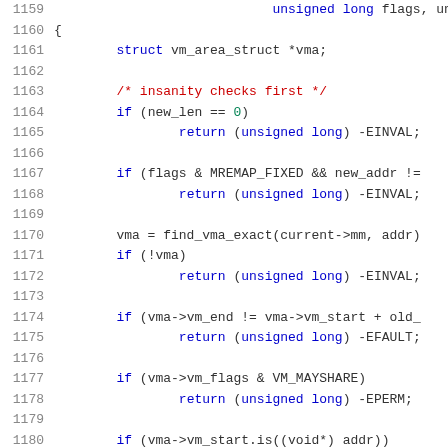Source code listing lines 1159-1180, showing a C function body with variable declarations, insanity checks using if statements, and return statements with -EINVAL, -EFAULT, -EPERM error codes.